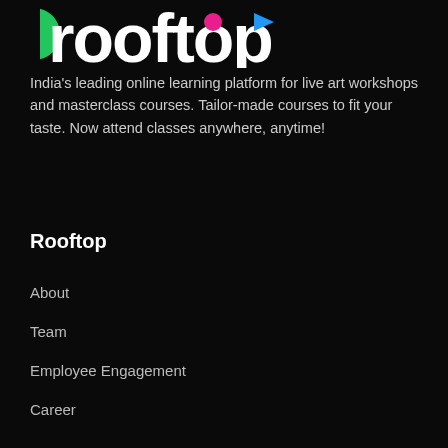[Figure (logo): Rooftop logo with large white text 'rooftop', a pink/magenta circle dot and a blue triangle arrow, with green partial circle on left edge]
India's leading online learning platform for live art workshops and masterclass courses. Tailor-made courses to fit your taste. Now attend classes anywhere, anytime!
Rooftop
About
Team
Employee Engagement
Career